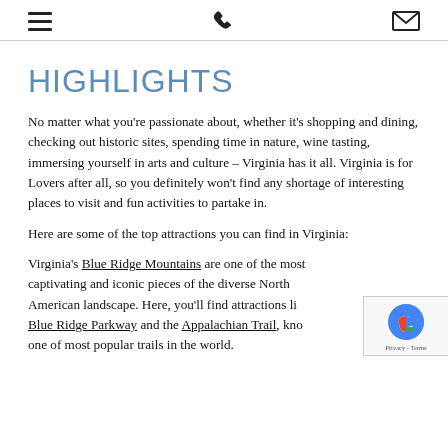[menu icon] [phone icon] [mail icon]
HIGHLIGHTS
No matter what you're passionate about, whether it's shopping and dining, checking out historic sites, spending time in nature, wine tasting, immersing yourself in arts and culture – Virginia has it all. Virginia is for Lovers after all, so you definitely won't find any shortage of interesting places to visit and fun activities to partake in.
Here are some of the top attractions you can find in Virginia:
Virginia's Blue Ridge Mountains are one of the most captivating and iconic pieces of the diverse North American landscape. Here, you'll find attractions like Blue Ridge Parkway and the Appalachian Trail, known as one of most popular trails in the world.